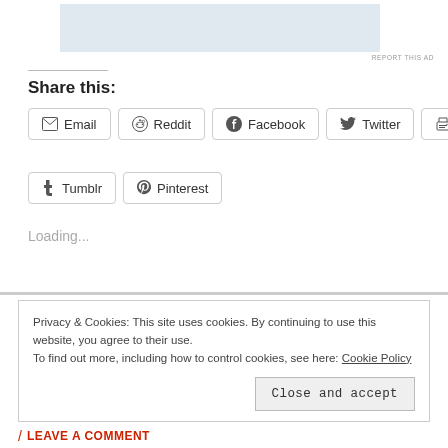[Figure (other): Advertisement placeholder box (light blue/gray rectangle)]
REPORT THIS AD
Share this:
Email  Reddit  Facebook  Twitter  Print  Tumblr  Pinterest
Loading...
Privacy & Cookies: This site uses cookies. By continuing to use this website, you agree to their use. To find out more, including how to control cookies, see here: Cookie Policy
Close and accept
LEAVE A COMMENT